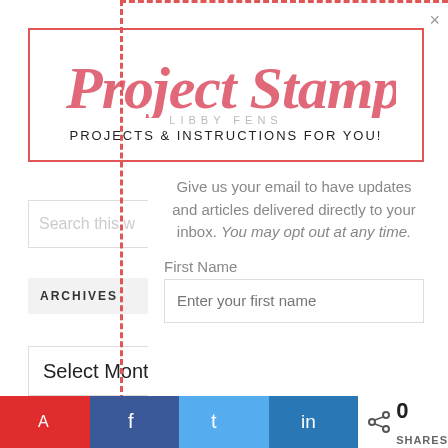[Figure (logo): Project Stamps blog logo with script font text 'Project Stamps', subtitle 'LIBBY FENS', tagline 'PROJECTS & INSTRUCTIONS FOR YOU!' inside a red border box]
Give us your email to have updates and articles delivered directly to your inbox. You may opt out at any time.
First Name
Enter your first name
ARCHIVES
Select Month
Email Add...
Search this website
A k  f  t  in  < 0  SHARES